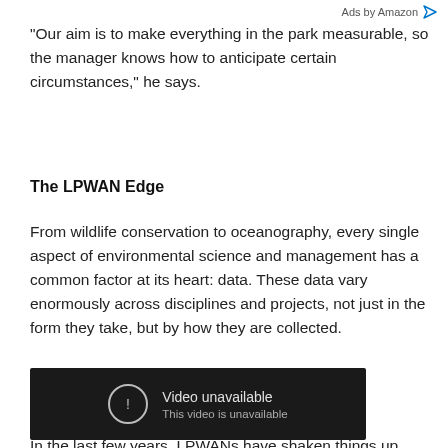Ads by Amazon
“Our aim is to make everything in the park measurable, so the manager knows how to anticipate certain circumstances,” he says.
The LPWAN Edge
From wildlife conservation to oceanography, every single aspect of environmental science and management has a common factor at its heart: data. These data vary enormously across disciplines and projects, not just in the form they take, but by how they are collected.
[Figure (screenshot): Embedded video player showing 'Video unavailable. This video is unavailable.' message on a dark background with a YouTube play button icon in the bottom right.]
In the last few years, LPWANs have shaken things up